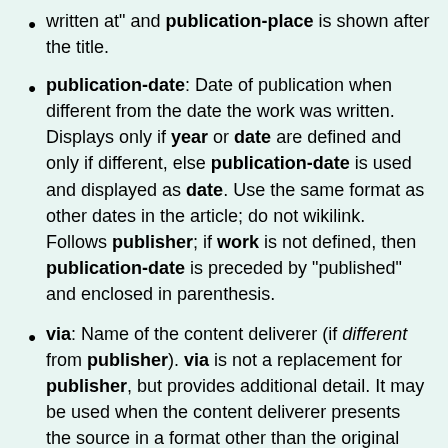written at" and publication-place is shown after the title.
publication-date: Date of publication when different from the date the work was written. Displays only if year or date are defined and only if different, else publication-date is used and displayed as date. Use the same format as other dates in the article; do not wikilink. Follows publisher; if work is not defined, then publication-date is preceded by "published" and enclosed in parenthesis.
via: Name of the content deliverer (if different from publisher). via is not a replacement for publisher, but provides additional detail. It may be used when the content deliverer presents the source in a format other than the original (e.g. NewsBank), when the URL provided does not make clear the